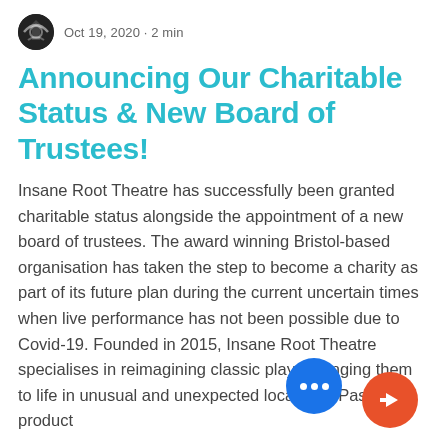Oct 19, 2020 · 2 min
Announcing Our Charitable Status & New Board of Trustees!
Insane Root Theatre has successfully been granted charitable status alongside the appointment of a new board of trustees. The award winning Bristol-based organisation has taken the step to become a charity as part of its future plan during the current uncertain times when live performance has not been possible due to Covid-19. Founded in 2015, Insane Root Theatre specialises in reimagining classic plays, bringing them to life in unusual and unexpected locations. Past product